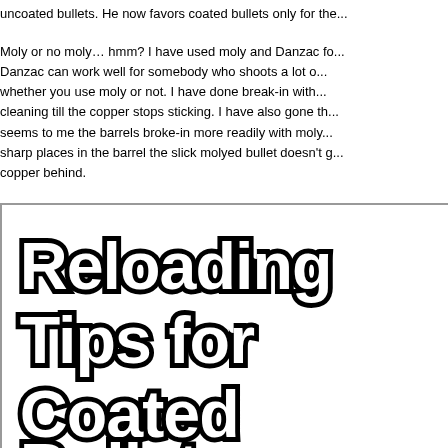uncoated bullets. He now favors coated bullets only for the...
Moly or no moly… hmm? I have used moly and Danzac fo... Danzac can work well for somebody who shoots a lot o... whether you use moly or not. I have done break-in with... cleaning till the copper stops sticking. I have also gone th... seems to me the barrels broke-in more readily with moly... sharp places in the barrel the slick molyed bullet doesn't g... copper behind.
[Figure (illustration): Image box with bold outlined text 'Reloading Tips for Coated Bullets' on left side and a photograph of grey/silver bullet tips piled together on the right side.]